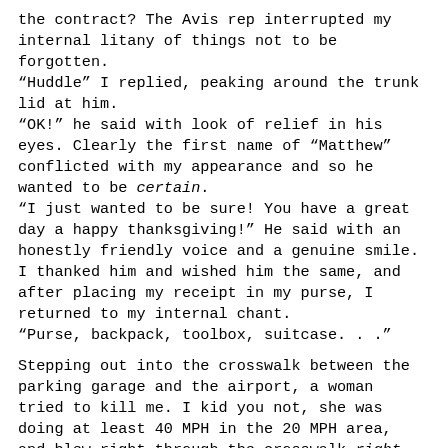the contract?  The Avis rep interrupted my internal litany of things not to be forgotten.
“Huddle” I replied, peaking around the trunk lid at him.
“OK!” he said with look of relief in his eyes. Clearly the first name of “Matthew” conflicted with my appearance and so he wanted to be certain.
“I just wanted to be sure! You have a great day a happy thanksgiving!” He said with an honestly friendly voice and a genuine smile. I thanked him and wished him the same, and after placing my receipt in my purse, I returned to my internal chant.
“Purse, backpack, toolbox, suitcase. . .”

Stepping out into the crosswalk between the parking garage and the airport, a woman tried to kill me. I kid you not, she was doing at least 40 MPH in the 20 MPH area, and blew right through the crosswalk right in front of me, even though I was mid-way through it. I never even had the time to